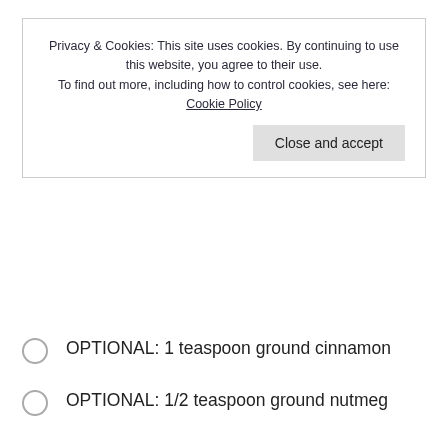Privacy & Cookies: This site uses cookies. By continuing to use this website, you agree to their use. To find out more, including how to control cookies, see here: Cookie Policy
OPTIONAL: 1 teaspoon ground cinnamon
OPTIONAL: 1/2 teaspoon ground nutmeg
DIRECTIONS
Crumbs
In bowl, mix flour, brown sugar, baking powder, and margarine (or shortening), cinnamon and nutmeg (if using) together to make crumbs, using fingers or a pastry